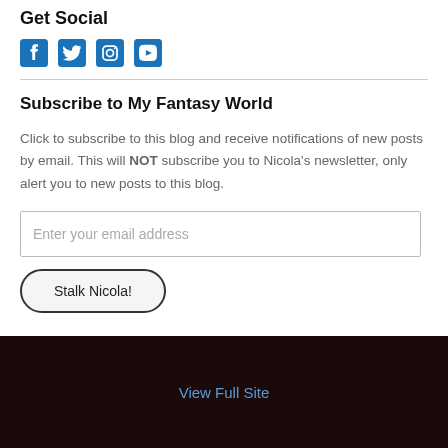Get Social
[Figure (illustration): Four social media icons in blue: Facebook, Twitter, Instagram, YouTube]
Subscribe to My Fantasy World
Click to subscribe to this blog and receive notifications of new posts by email. This will NOT subscribe you to Nicola's newsletter, only alert you to new posts to this blog.
Enter your email address
Stalk Nicola!
View Full Site